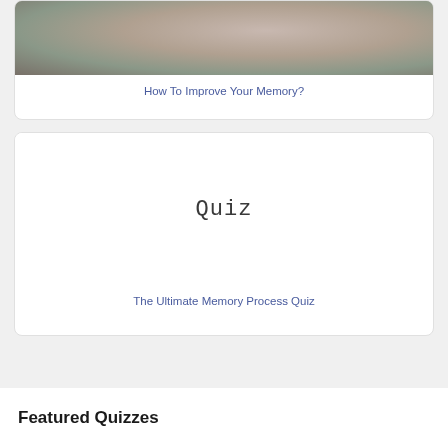[Figure (photo): Close-up photo of a person's face/chin area with hand near face]
How To Improve Your Memory?
[Figure (illustration): White card with handwritten-style text reading 'Quiz']
The Ultimate Memory Process Quiz
Featured Quizzes